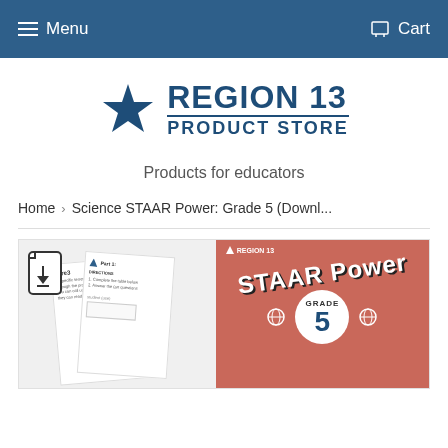Menu  Cart
[Figure (logo): Region 13 Product Store logo with blue star and bold text]
Products for educators
Home > Science STAAR Power: Grade 5 (Downl...
[Figure (photo): Product image showing downloadable Science STAAR Power Grade 5 workbook with salmon/coral colored cover featuring STAAR Power text and Grade 5 label with atom decorations]